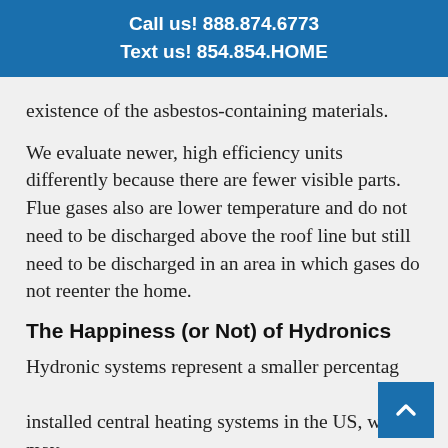Call us! 888.874.6773
Text us! 854.854.HOME
existence of the asbestos-containing materials.
We evaluate newer, high efficiency units differently because there are fewer visible parts. Flue gases also are lower temperature and do not need to be discharged above the roof line but still need to be discharged in an area in which gases do not reenter the home.
The Happiness (or Not) of Hydronics
Hydronic systems represent a smaller percentage of installed central heating systems in the US, which may be baffling given the claimed benefits: precise zone control, the comfort of warm floors, and the comfort